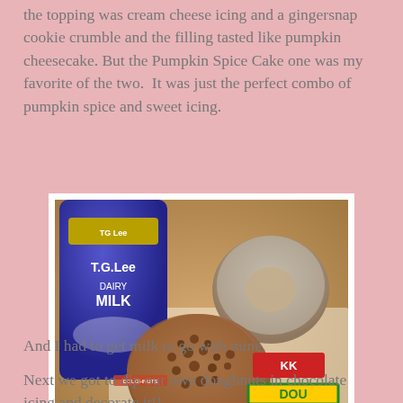the topping was cream cheese icing and a gingersnap cookie crumble and the filling tasted like pumpkin cheesecake. But the Pumpkin Spice Cake one was my favorite of the two.  It was just the perfect combo of pumpkin spice and sweet icing.
[Figure (photo): Photo showing two Krispy Kreme doughnuts on a paper wrapper with Krispy Kreme branding, alongside a blue TG Lee milk carton on a wooden table surface. One doughnut has crumble topping (pumpkin spice cake) and the other has a glazed frosted topping.]
And I had to get milk to go with mine.
Next we got to dip our own doughnuts in chocolate icing and decorate it!!